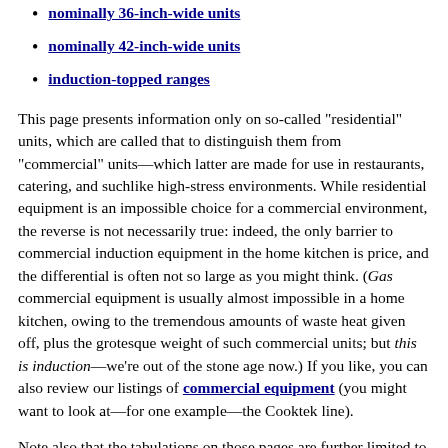nominally 36-inch-wide units
nominally 42-inch-wide units
induction-topped ranges
This page presents information only on so-called "residential" units, which are called that to distinguish them from "commercial" units—which latter are made for use in restaurants, catering, and suchlike high-stress environments. While residential equipment is an impossible choice for a commercial environment, the reverse is not necessarily true: indeed, the only barrier to commercial induction equipment in the home kitchen is price, and the differential is often not so large as you might think. (Gas commercial equipment is usually almost impossible in a home kitchen, owing to the tremendous amounts of waste heat given off, plus the grotesque weight of such commercial units; but this is induction—we're out of the stone age now.) If you like, you can also review our listings of commercial equipment (you might want to look at—for one example—the Cooktek line).
Note also that the tabulations on those pages are further limited to build-in units—that is, those set into a cutout in a countertop as permanent installations. There are, of course, also numerous